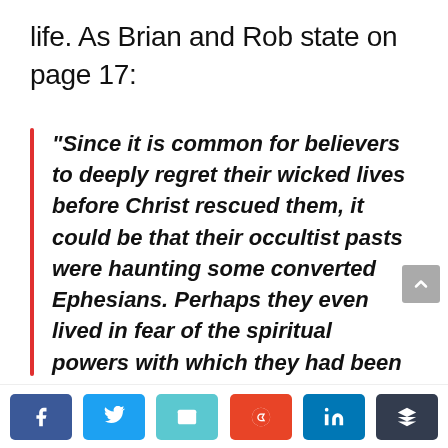life. As Brian and Rob state on page 17:
“Since it is common for believers to deeply regret their wicked lives before Christ rescued them, it could be that their occultist pasts were haunting some converted Ephesians. Perhaps they even lived in fear of the spiritual powers with which they had been acquainted. As we come to Ephesians 6:10-
[Social share buttons: Facebook, Twitter, Email, Reddit, LinkedIn, More]